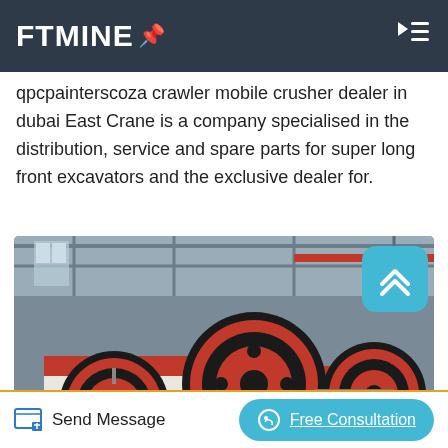FTMINE
qpcpainterscoza crawler mobile crusher dealer in dubai East Crane is a company specialised in the distribution, service and spare parts for super long front excavators and the exclusive dealer for.
[Figure (photo): Industrial jaw crusher machine with large red and black flywheels in a factory/warehouse setting. The machine has a white and red body with multiple large circular drive wheels.]
Send Message
Free Consultation